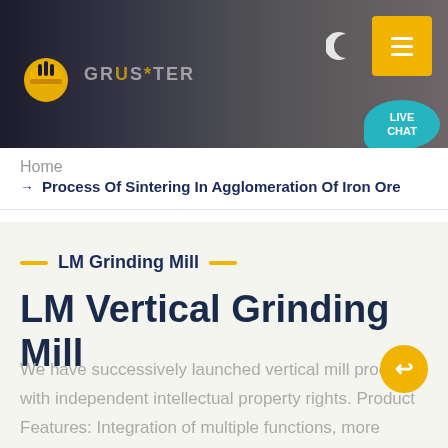GRUSER — Header with logo, navigation moon icon, menu button, and LIVE CHAT bubble
Home
→ Process Of Sintering In Agglomeration Of Iron Ore
LM Grinding Mill
LM Vertical Grinding Mill
We have successively launched vertical mill products with independent intellectual property rights. Product Features: Integration of multiple functions, more stable and reliable production and more excellent capacity